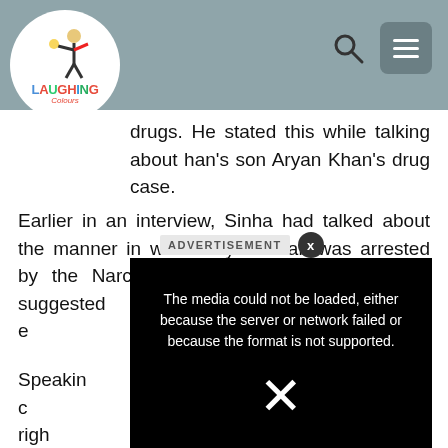Laughing Colours - header with logo, search, and menu
drugs. He stated this while talking about han's son Aryan Khan's drug case.
Earlier in an interview, Sinha had talked about the manner in which Aryan Khan was arrested by the Narcotics Control Bureau (NCB). He suggested that the arrest was made e… o divert attentio…
[Figure (screenshot): Video player showing error: The media could not be loaded, either because the server or network failed or because the format is not supported. Large X icon displayed. Advertisement label and close button shown above.]
Speakin… bout if it was a c… ldren to the righ… n actor stated t… ot, they must gu… believes in practi… tobacco campaig… nd shun